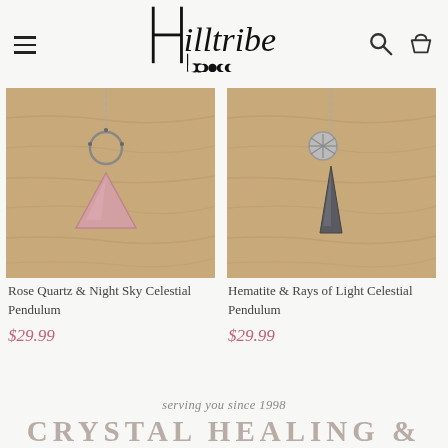Hilltribe [logo with moon phases]
[Figure (photo): Rose quartz pink triangular crystal pendant with silver moon ring charm on chain, on wooden background]
Rose Quartz & Night Sky Celestial Pendulum
$29.99
[Figure (photo): Hematite dark pointed crystal pendant with silver shell/sun disc charm on chain, on wooden background]
Hematite & Rays of Light Celestial Pendulum
$29.99
serving you since 1998
CRYSTAL HEALING &